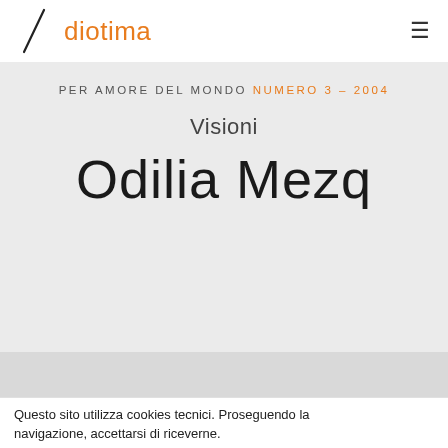diotima
PER AMORE DEL MONDO NUMERO 3 – 2004
Visioni
Odilia Mezq
Questo sito utilizza cookies tecnici. Proseguendo la navigazione, accettarsi di riceverne.